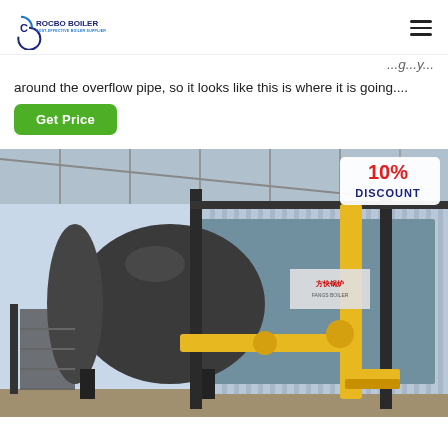ROCBO BOILER - COST-EFFECTIVE BOILER SUPPLIER
around the overflow pipe, so it looks like this is where it is going....
Get Price
[Figure (photo): Industrial gas-fired steam boiler in a factory/workshop setting. Large cylindrical boiler vessel on the left with black casing, yellow gas pipes on the right, corrugated metal wall panels in the background. A red '10% DISCOUNT' badge is overlaid in the top-right corner of the image.]